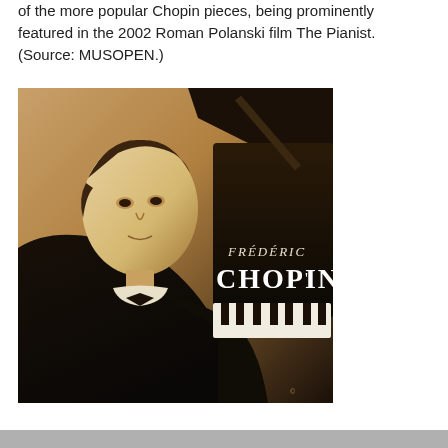of the more popular Chopin pieces, being prominently featured in the 2002 Roman Polanski film The Pianist. (Source: MUSOPEN.)
[Figure (photo): Sepia-toned artistic image of Frédéric Chopin in formal attire with a grand piano visible behind him. Text overlay reads 'FRÉDÉRIC CHOPIN' in white lettering.]